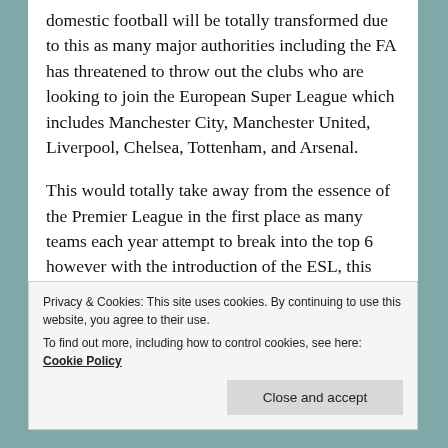domestic football will be totally transformed due to this as many major authorities including the FA has threatened to throw out the clubs who are looking to join the European Super League which includes Manchester City, Manchester United, Liverpool, Chelsea, Tottenham, and Arsenal.
This would totally take away from the essence of the Premier League in the first place as many teams each year attempt to break into the top 6 however with the introduction of the ESL, this will take away any attempt of this moving forward.
Privacy & Cookies: This site uses cookies. By continuing to use this website, you agree to their use. To find out more, including how to control cookies, see here: Cookie Policy